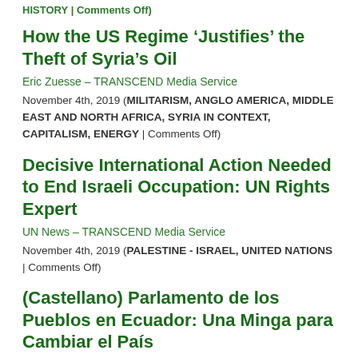HISTORY | Comments Off)
How the US Regime ‘Justifies’ the Theft of Syria’s Oil
Eric Zuesse – TRANSCEND Media Service
November 4th, 2019 (MILITARISM, ANGLO AMERICA, MIDDLE EAST AND NORTH AFRICA, SYRIA IN CONTEXT, CAPITALISM, ENERGY | Comments Off)
Decisive International Action Needed to End Israeli Occupation: UN Rights Expert
UN News – TRANSCEND Media Service
November 4th, 2019 (PALESTINE - ISRAEL, UNITED NATIONS | Comments Off)
(Castellano) Parlamento de los Pueblos en Ecuador: Una Minga para Cambiar el País
Raúl Zibechi – La Jornada [Mexico]
November 4th, 2019 (ORIGINAL LANGUAGES | Comments Off)